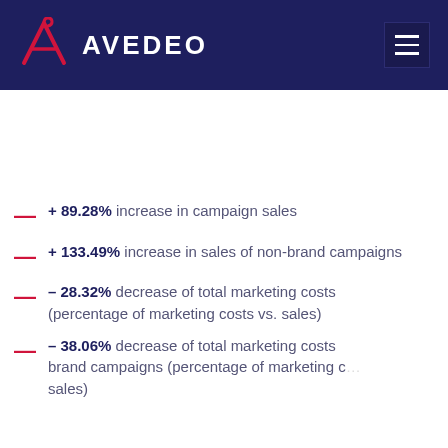AVEDEO
+ 89.28% increase in campaign sales
+ 133.49% increase in sales of non-brand campaigns
– 28.32% decrease of total marketing costs (percentage of marketing costs vs. sales)
– 38.06% decrease of total marketing costs brand campaigns (percentage of marketing costs vs. sales)